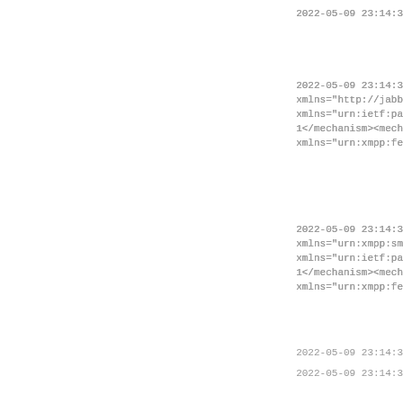2022-05-09 23:14:3
2022-05-09 23:14:3
xmlns="http://jabb
xmlns="urn:ietf:pa
1</mechanism><mech
xmlns="urn:xmpp:fe
2022-05-09 23:14:3
xmlns="urn:xmpp:sm
xmlns="urn:ietf:pa
1</mechanism><mech
xmlns="urn:xmpp:fe
2022-05-09 23:14:3
2022-05-09 23:14:3
2022-05-09 23:14:3
2022-05-09 23:14:3
256">biwsbj1qYXhtd
2022-05-09 23:14:3
256">biwsbj1qYXhtd